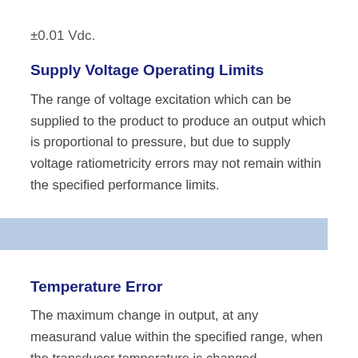±0.01 Vdc.
Supply Voltage Operating Limits
The range of voltage excitation which can be supplied to the product to produce an output which is proportional to pressure, but due to supply voltage ratiometricity errors may not remain within the specified performance limits.
T
Temperature Error
The maximum change in output, at any measurand value within the specified range, when the transducer temperature is changed